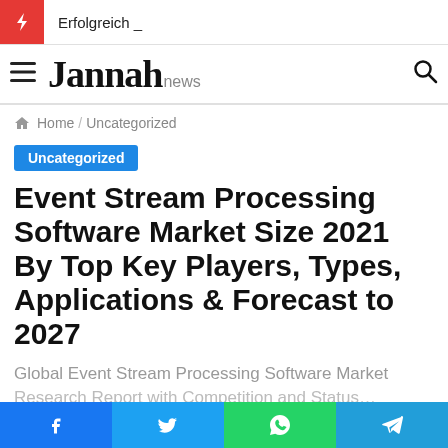Erfolgreich _
Jannah news
Home / Uncategorized
Uncategorized
Event Stream Processing Software Market Size 2021 By Top Key Players, Types, Applications & Forecast to 2027
Global Event Stream Processing Software Market Research Report with Competition and Status…